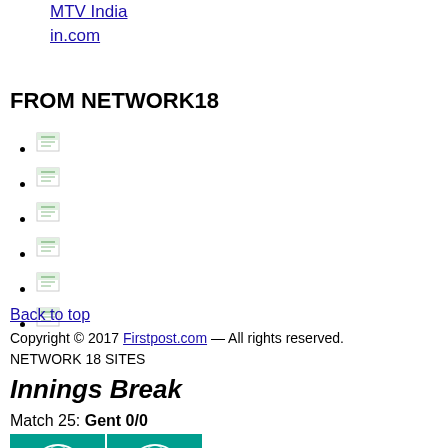MTV India
in.com
FROM NETWORK18
[image icon]
[image icon]
[image icon]
[image icon]
[image icon]
[image icon]
Back to top
Copyright © 2017 Firstpost.com — All rights reserved.
NETWORK 18 SITES
Innings Break
Match 25: Gent 0/0
[Figure (illustration): Two teal/green cricket ball icons side by side with text 'LIE vs GEN']